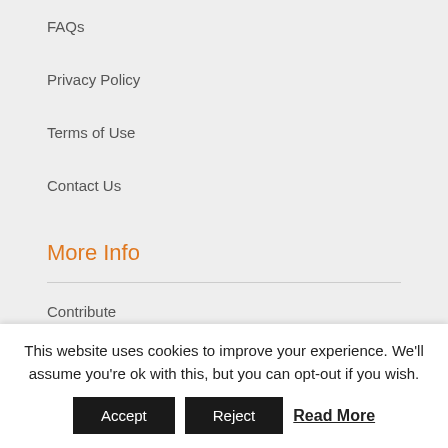FAQs
Privacy Policy
Terms of Use
Contact Us
More Info
Contribute
Newsletter Signup
This website uses cookies to improve your experience. We'll assume you're ok with this, but you can opt-out if you wish.
Accept   Reject   Read More